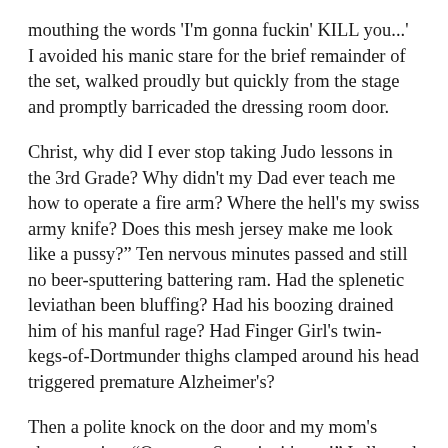mouthing the words 'I'm gonna fuckin' KILL you...' I avoided his manic stare for the brief remainder of the set, walked proudly but quickly from the stage and promptly barricaded the dressing room door.
Christ, why did I ever stop taking Judo lessons in the 3rd Grade? Why didn't my Dad ever teach me how to operate a fire arm? Where the hell's my swiss army knife? Does this mesh jersey make me look like a pussy?" Ten nervous minutes passed and still no beer-sputtering battering ram. Had the splenetic leviathan been bluffing? Had his boozing drained him of his manful rage? Had Finger Girl's twin-kegs-of-Dortmunder thighs clamped around his head triggered premature Alzheimer's?
Then a polite knock on the door and my mom's cheery voice: “Open up, Sweetie–it's me!” I allowed her to enter only after checking her photo ID, slid under the door (who knows, maybe the raging galoot was a master of vocal impressions). “It's ok, Honey Baby. I saw what happened, so I went up to that big guy and said 'Pleeeese